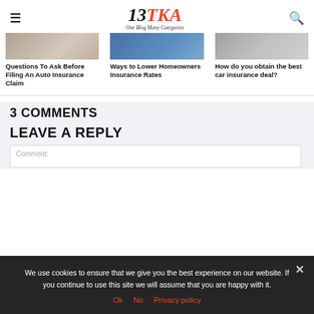13TKA — One Blog Many Categories
Questions To Ask Before Filing An Auto Insurance Claim
Ways to Lower Homeowners Insurance Rates
How do you obtain the best car insurance deal?
3 COMMENTS
LEAVE A REPLY
Comment:
We use cookies to ensure that we give you the best experience on our website. If you continue to use this site we will assume that you are happy with it.
Ok   No   Privacy policy